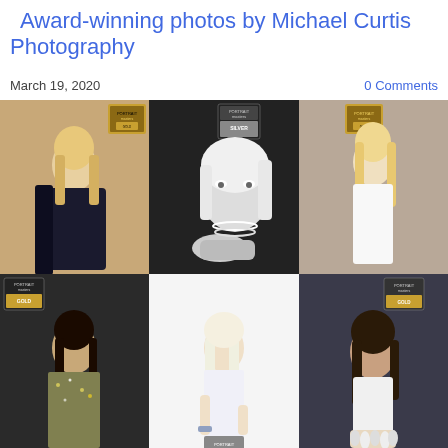Award-winning photos by Michael Curtis Photography
March 19, 2020
0 Comments
[Figure (photo): Grid of six award-winning portrait photographs by Michael Curtis Photography, featuring women in various poses and outfits. Top row: blonde woman in dark coat/robe, black and white close-up portrait of blonde woman with pearl necklace, blonde woman in white outfit. Bottom row: Asian woman in sparkly dress, blonde woman in white strapless dress on white background, Asian woman in white low-cut outfit against dark background. Each photo displays a Portrait Masters award logo.]